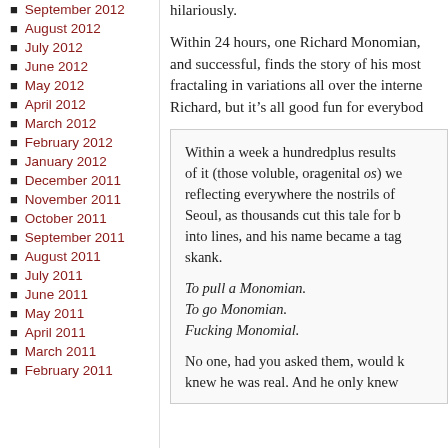September 2012
August 2012
July 2012
June 2012
May 2012
April 2012
March 2012
February 2012
January 2012
December 2011
November 2011
October 2011
September 2011
August 2011
July 2011
June 2011
May 2011
April 2011
March 2011
February 2011
hilariously.
Within 24 hours, one Richard Monomian, and successful, finds the story of his most fractaling in variations all over the internet. Richard, but it’s all good fun for everybody
Within a week a hundredplus results of it (those voluble, oragenital os) we reflecting everywhere the nostrils of Seoul, as thousands cut this tale for b into lines, and his name became a tag skank.

To pull a Monomian.
To go Monomian.
Fucking Monomial.

No one, had you asked them, would k knew he was real. And he only knew